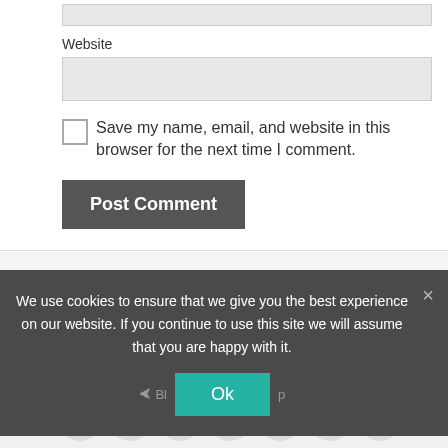Website
[Figure (screenshot): Website text input field (empty, light gray background)]
Save my name, email, and website in this browser for the next time I comment.
[Figure (screenshot): Post Comment button, dark gray]
Follow Freedominc
We use cookies to ensure that we give you the best experience on our website. If you continue to use this site we will assume that you are happy with it.
[Figure (screenshot): Ok button (teal/green)]
[Figure (screenshot): Shares social icon bar: Facebook, Twitter, Google+, LinkedIn, Evernote, Email, and partial icons]